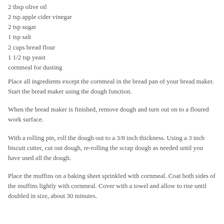2 tbsp olive oil
2 tsp apple cider vinegar
2 tsp sugar
1 tsp salt
2 cups bread flour
1 1/2 tsp yeast
cornmeal for dusting
Place all ingredients except the cornmeal in the bread pan of your bread maker.  Start the bread maker using the dough function.
When the bread maker is finished, remove dough and turn out on to a floured work surface.
With a rolling pin, roll the dough out to a 3/8 inch thickness.  Using a 3 inch biscuit cutter, cut out dough, re-rolling the scrap dough as needed until you have used all the dough.
Place the muffins on a baking sheet sprinkled with cornmeal.  Coat both sides of the muffins lightly with cornmeal.  Cover with a towel and allow to rise until doubled in size, about 30 minutes.